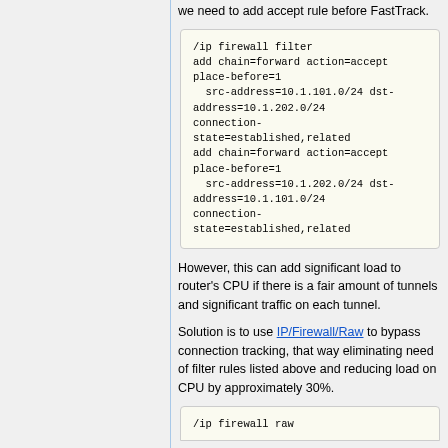we need to add accept rule before FastTrack.
/ip firewall filter
add chain=forward action=accept place-before=1
  src-address=10.1.101.0/24 dst-address=10.1.202.0/24 connection-state=established,related
add chain=forward action=accept place-before=1
  src-address=10.1.202.0/24 dst-address=10.1.101.0/24 connection-state=established,related
However, this can add significant load to router's CPU if there is a fair amount of tunnels and significant traffic on each tunnel.
Solution is to use IP/Firewall/Raw to bypass connection tracking, that way eliminating need of filter rules listed above and reducing load on CPU by approximately 30%.
/ip firewall raw...